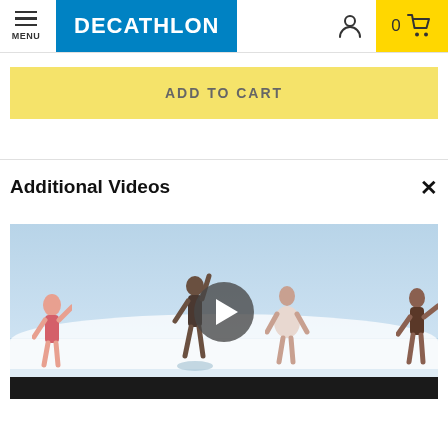MENU | DECATHLON | 0 cart
ADD TO CART
Additional Videos
[Figure (screenshot): Video thumbnail of women at the beach/ocean with a play button overlay and a dark bottom bar. Multiple women in swimwear are shown near ocean waves.]